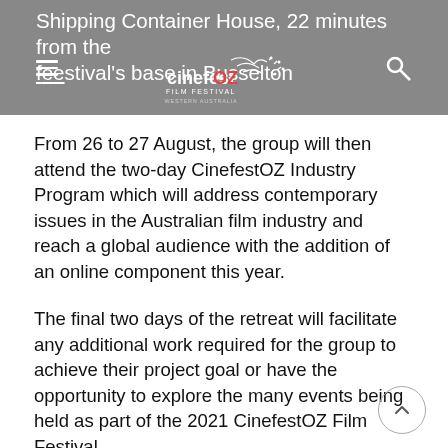Shipping Container House, 22 minutes from the festival's base in Busselton
From 26 to 27 August, the group will then attend the two-day CinefestOZ Industry Program which will address contemporary issues in the Australian film industry and reach a global audience with the addition of an online component this year.
The final two days of the retreat will facilitate any additional work required for the group to achieve their project goal or have the opportunity to explore the many events being held as part of the 2021 CinefestOZ Film Festival.
Details of the selected participants are:
Annabel Maclean, actress and writer